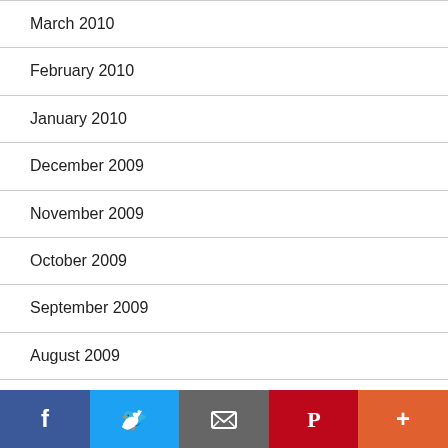March 2010
February 2010
January 2010
December 2009
November 2009
October 2009
September 2009
August 2009
July 2009
June 2009
[Figure (infographic): Social sharing bar with Facebook, Twitter, Email, Pinterest, and More (+) buttons]